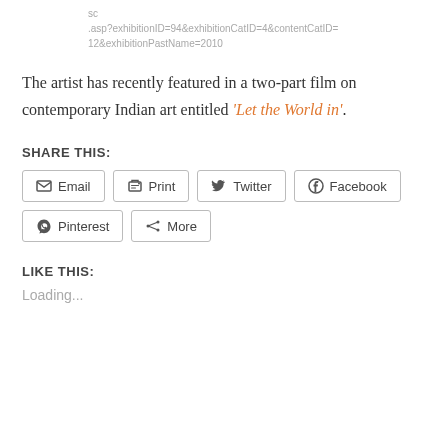sc .asp?exhibitionID=94&exhibitionCatID=4&contentCatID=12&exhibitionPastName=2010
The artist has recently featured in a two-part film on contemporary Indian art entitled ‘Let the World in’.
SHARE THIS:
Email  Print  Twitter  Facebook  Pinterest  More
LIKE THIS:
Loading...